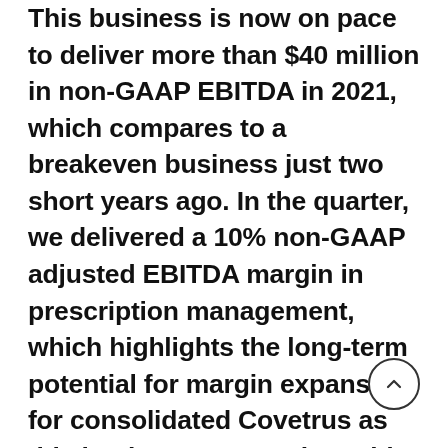This business is now on pace to deliver more than $40 million in non-GAAP EBITDA in 2021, which compares to a breakeven business just two short years ago. In the quarter, we delivered a 10% non-GAAP adjusted EBITDA margin in prescription management, which highlights the long-term potential for margin expansion for consolidated Covetrus as this business grows alongside our other high-margin solutions, including Tims, Wellness Plan Administration, Communication Solutions, Payments And Solutions, SmartPack and our proprietary brands. As highlighted earlier announcement, we took a major step forward on this portfolio during the third